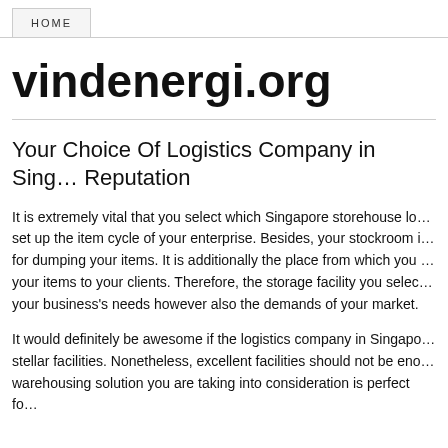HOME
vindenergi.org
Your Choice Of Logistics Company in Singapore Should Have a Good Reputation
It is extremely vital that you select which Singapore storehouse logistics company to set up the item cycle of your enterprise. Besides, your stockroom is not only meant for dumping your items. It is additionally the place from which you can appropriate your items to your clients. Therefore, the storage facility you select must not just meet your business's needs however also the demands of your market.
It would definitely be awesome if the logistics company in Singapore you select has stellar facilities. Nonetheless, excellent facilities should not be enough. The warehousing solution you are taking into consideration is perfect for your business...